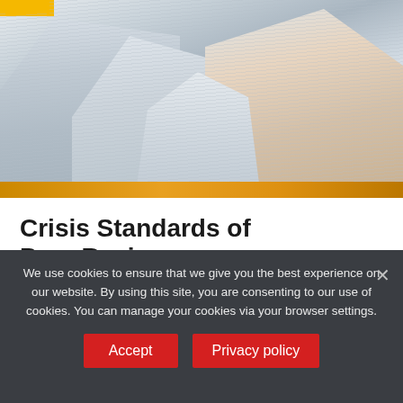[Figure (photo): Large stacks of papers and documents piled high on a surface, photographed closely. A yellow sticky note or folder is visible at top left. The stacks are disorganized and overflowing, illustrating an overwhelming volume of documents.]
Crisis Standards of Peer Review
Addressing the peer review crisis with a more
We use cookies to ensure that we give you the best experience on our website. By using this site, you are consenting to our use of cookies. You can manage your cookies via your browser settings.
Accept
Privacy policy